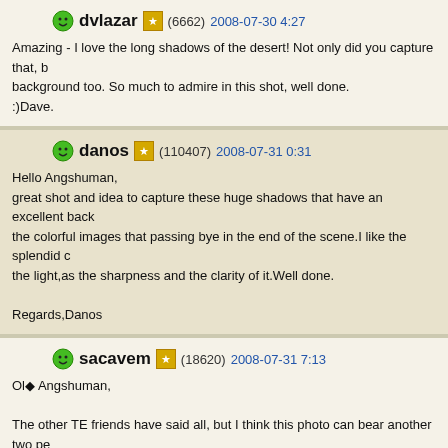dvlazar (6662) 2008-07-30 4:27
Amazing - I love the long shadows of the desert! Not only did you capture that, b background too. So much to admire in this shot, well done.
:)Dave.
danos (110407) 2008-07-31 0:31
Hello Angshuman,
great shot and idea to capture these huge shadows that have an excellent back the colorful images that passing bye in the end of the scene.I like the splendid c the light,as the sharpness and the clarity of it.Well done.

Regards,Danos
sacavem (18620) 2008-07-31 7:13
Ol◆ Angshuman,

The other TE friends have said all, but I think this photo can bear another two pe

Regards
Filipe (Portugal)